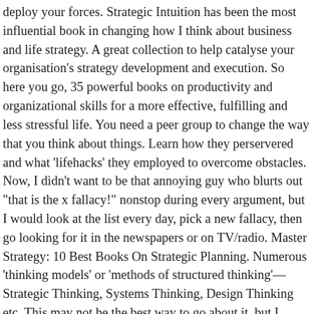deploy your forces. Strategic Intuition has been the most influential book in changing how I think about business and life strategy. A great collection to help catalyse your organisation's strategy development and execution. So here you go, 35 powerful books on productivity and organizational skills for a more effective, fulfilling and less stressful life. You need a peer group to change the way that you think about things. Learn how they perservered and what 'lifehacks' they employed to overcome obstacles. Now, I didn't want to be that annoying guy who blurts out "that is the x fallacy!" nonstop during every argument, but I would look at the list every day, pick a new fallacy, then go looking for it in the newspapers or on TV/radio. Master Strategy: 10 Best Books On Strategic Planning. Numerous 'thinking models' or 'methods of structured thinking'—Strategic Thinking, Systems Thinking, Design Thinking etc. This may not be the best way to go about it, but I started on this journey by reading the wikipedia page of logical fallacies. Other than that solving puzzles and playing games where you can get better at through strategic thinking may work. Cookies help us deliver our Services. r/48lawsofpower. New comments cannot be posted and votes cannot